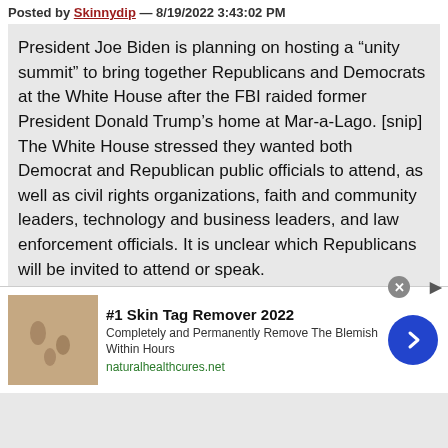Posted by Skinnydip — 8/19/2022 3:43:02 PM
President Joe Biden is planning on hosting a “unity summit” to bring together Republicans and Democrats at the White House after the FBI raided former President Donald Trump’s home at Mar-a-Lago. [snip] The White House stressed they wanted both Democrat and Republican public officials to attend, as well as civil rights organizations, faith and community leaders, technology and business leaders, and law enforcement officials. It is unclear which Republicans will be invited to attend or speak.
Grassley Vows to Take Back the Senate,
39 replies
[Figure (other): Advertisement banner: #1 Skin Tag Remover 2022 — Completely and Permanently Remove The Blemish Within Hours — naturalhealthcures.net]